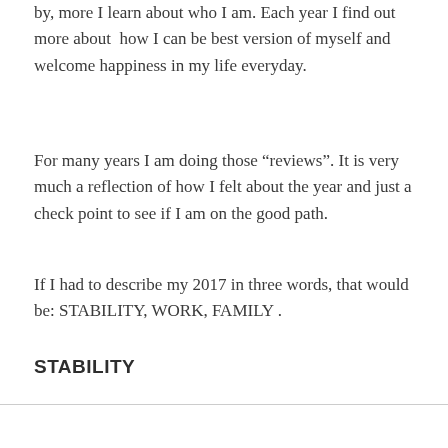by, more I learn about who I am. Each year I find out more about how I can be best version of myself and welcome happiness in my life everyday.
For many years I am doing those “reviews”. It is very much a reflection of how I felt about the year and just a check point to see if I am on the good path.
If I had to describe my 2017 in three words, that would be: STABILITY, WORK, FAMILY .
STABILITY